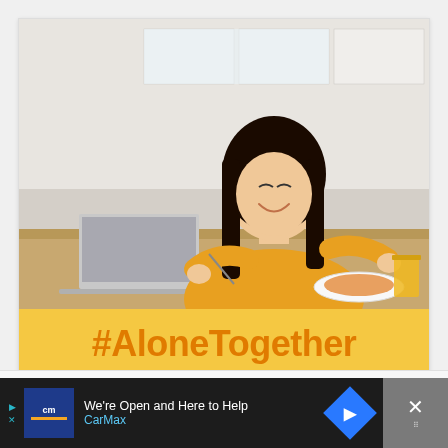[Figure (photo): Young woman with long dark hair wearing a yellow/mustard top, smiling and eating at a kitchen table with a laptop, plate of food, and glass of orange juice. Kitchen background with white cabinets.]
#AloneTogether
This website uses cookies to improve your experience on our website. Click here for more information.
[Figure (other): CarMax advertisement banner: 'We're Open and Here to Help' with CarMax logo, blue arrow icon, and close button with grid icon.]